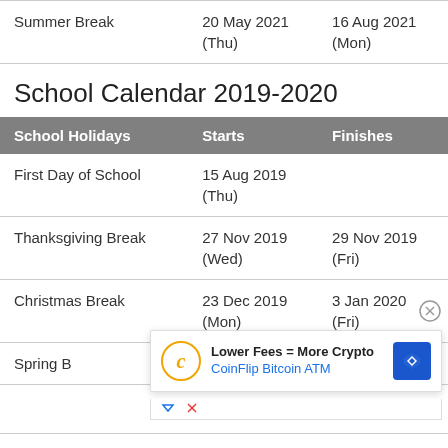| Summer Break | 20 May 2021
(Thu) | 16 Aug 2021
(Mon) |
School Calendar 2019-2020
| School Holidays | Starts | Finishes |
| --- | --- | --- |
| First Day of School | 15 Aug 2019
(Thu) |  |
| Thanksgiving Break | 27 Nov 2019
(Wed) | 29 Nov 2019
(Fri) |
| Christmas Break | 23 Dec 2019
(Mon) | 3 Jan 2020
(Fri) |
| Spring Break |  | 2020 |
|  |  |  |
[Figure (other): Advertisement overlay: CoinFlip Bitcoin ATM - Lower Fees = More Crypto]